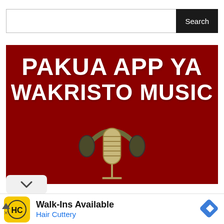[Figure (screenshot): Search bar with text input field and Search button]
[Figure (illustration): Red banner reading 'PAKUA APP YA WAKRISTO MUSIC' with a vintage microphone and headphones graphic in the lower portion]
[Figure (infographic): Chevron/collapse button (v) on white rounded rectangle]
[Figure (other): Advertisement banner: HC Hair Cuttery logo (yellow circle with HC text), Walk-Ins Available text, Hair Cuttery in blue, and a blue diamond navigation icon. Ad marker triangle and X at bottom left.]